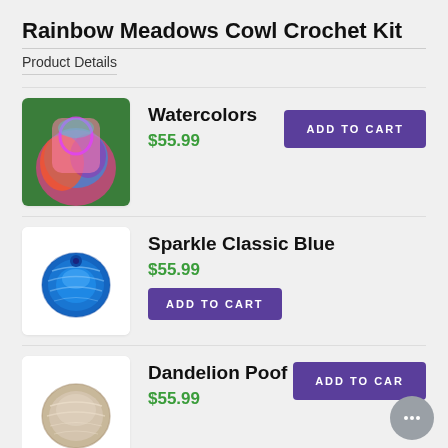Rainbow Meadows Cowl Crochet Kit
Product Details
[Figure (photo): Person wearing a colorful multicolored crochet cowl/shawl over a pink jacket against green foliage background]
Watercolors
$55.99
ADD TO CART
[Figure (photo): Ball of bright blue yarn on a white background]
Sparkle Classic Blue
$55.99
ADD TO CART
[Figure (photo): Ball of natural beige/cream colored yarn on a white background]
Dandelion Poof
$55.99
ADD TO CAR...